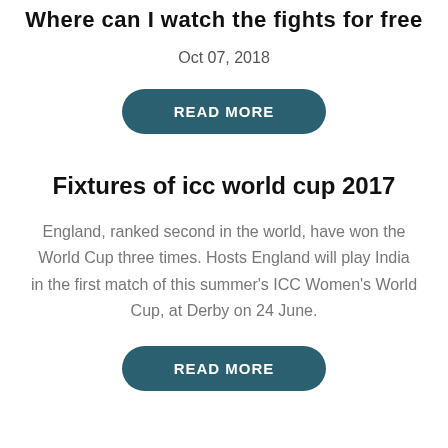Where can I watch the fights for free
Oct 07, 2018
READ MORE
Fixtures of icc world cup 2017
England, ranked second in the world, have won the World Cup three times. Hosts England will play India in the first match of this summer's ICC Women's World Cup, at Derby on 24 June.
READ MORE